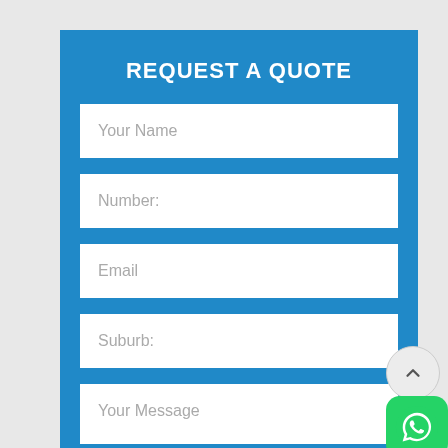REQUEST A QUOTE
Your Name
Number:
Email
Suburb:
Your Message